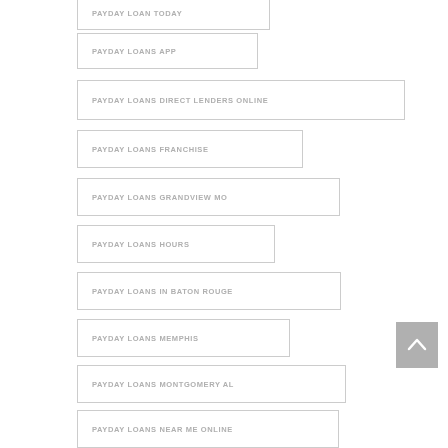PAYDAY LOAN TODAY
PAYDAY LOANS APP
PAYDAY LOANS DIRECT LENDERS ONLINE
PAYDAY LOANS FRANCHISE
PAYDAY LOANS GRANDVIEW MO
PAYDAY LOANS HOURS
PAYDAY LOANS IN BATON ROUGE
PAYDAY LOANS MEMPHIS
PAYDAY LOANS MONTGOMERY AL
PAYDAY LOANS NEAR ME ONLINE